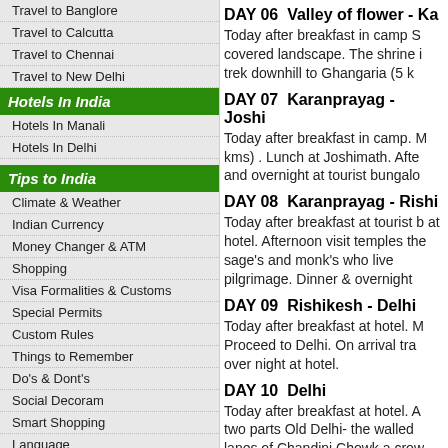Travel to Banglore
Travel to Calcutta
Travel to Chennai
Travel to New Delhi
Hotels In India
Hotels In Manali
Hotels In Delhi
Tips to India
Climate & Weather
Indian Currency
Money Changer & ATM
Shopping
Visa Formalities & Customs
Special Permits
Custom Rules
Things to Remember
Do's & Dont's
Social Decoram
Smart Shopping
Language
Useful Llinks
Links Exchange
Weather Updates
Custome Rules
DAY 06  Valley of flower - Ka…
Today after breakfast in camp S… covered landscape. The shrine i… trek downhill to Ghangaria (5 k…
DAY 07  Karanprayag - Joshi…
Today after breakfast in camp. M… kms) . Lunch at Joshimath. Afte… and overnight at tourist bungalo…
DAY 08  Karanprayag - Rishi…
Today after breakfast at tourist b… at hotel. Afternoon visit temples… the sage's and monk's who live … pilgrimage. Dinner & overnight…
DAY 09  Rishikesh - Delhi
Today after breakfast at hotel. M… Proceed to Delhi. On arrival tra… over night at hotel.
DAY 10  Delhi
Today after breakfast at hotel. A… two parts Old Delhi- the walled… lanes of Chandini Chowk a crow… the architect who planned it fo…